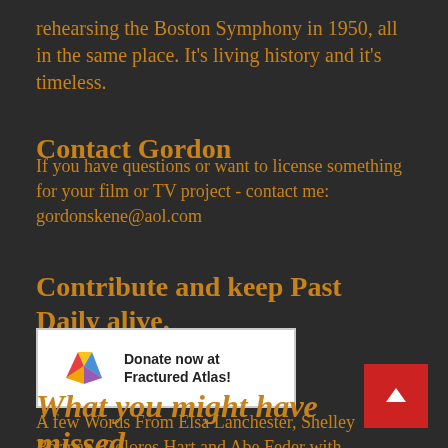rehearsing the Boston Symphony in 1950, all in the same place. It's living history and it's timeless.
Contact Gordon
If you have questions or want to license something for your film or TV project - contact me: gordonskene@aol.com
Contribute and keep Past Daily alive.
[Figure (logo): Donate now at Fractured Atlas! button with colorful star logo on white background]
What you might have missed.
A few Words From Elsa Lanchester, Shelley Berman, Dolores Hart and Abe Feder with Mitch